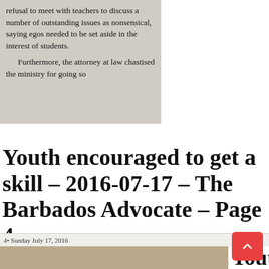refusal to meet with teachers to discuss a number of outstanding issues as nonsensical, saying egos needed to be set aside in the interest of students.

Furthermore, the attorney at law chastised the ministry for going so
Youth encouraged to get a skill – 2016-07-17 – The Barbados Advocate – Page 4
4• Sunday July 17, 2016
Youth en